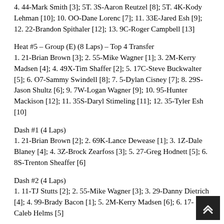4. 44-Mark Smith [3]; 5T. 3S-Aaron Reutzel [8]; 5T. 4K-Kody Lehman [10]; 10. OO-Dane Lorenc [7]; 11. 33E-Jared Esh [9]; 12. 22-Brandon Spithaler [12]; 13. 9C-Roger Campbell [13]
Heat #5 – Group (E) (8 Laps) – Top 4 Transfer
1. 21-Brian Brown [3]; 2. 55-Mike Wagner [1]; 3. 2M-Kerry Madsen [4]; 4. 49X-Tim Shaffer [2]; 5. 17C-Steve Buckwalter [5]; 6. O7-Sammy Swindell [8]; 7. 5-Dylan Cisney [7]; 8. 29S-Jason Shultz [6]; 9. 7W-Logan Wagner [9]; 10. 95-Hunter Mackison [12]; 11. 35S-Daryl Stimeling [11]; 12. 35-Tyler Esh [10]
Dash #1 (4 Laps)
1. 21-Brian Brown [2]; 2. 69K-Lance Dewease [1]; 3. 1Z-Dale Blaney [4]; 4. 3Z-Brock Zearfoss [3]; 5. 27-Greg Hodnett [5]; 6. 8S-Trenton Sheaffer [6]
Dash #2 (4 Laps)
1. 11-TJ Stutts [2]; 2. 55-Mike Wagner [3]; 3. 29-Danny Dietrich [4]; 4. 99-Brady Bacon [1]; 5. 2M-Kerry Madsen [6]; 6. 17-Caleb Helms [5]
D-Main (8 Laps) – Top 2 Transfer
1. 7C-Caleb Armstrong [2]; 2. 1ZF-Stewart Friesen